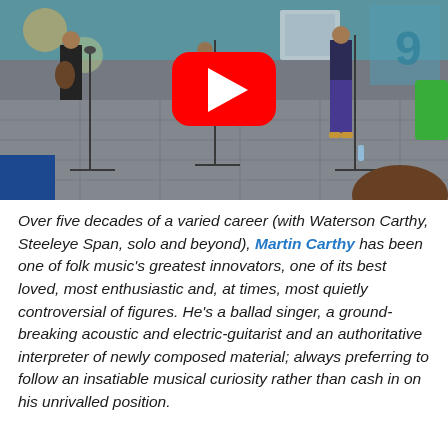[Figure (photo): A YouTube video thumbnail showing musicians performing indoors. A large red YouTube play button is visible in the center-upper area. Musicians with guitars are visible on a tiled floor with microphone stands. The room has colorful decor on the walls.]
Over five decades of a varied career (with Waterson Carthy, Steeleye Span, solo and beyond), Martin Carthy has been one of folk music's greatest innovators, one of its best loved, most enthusiastic and, at times, most quietly controversial of figures. He's a ballad singer, a ground-breaking acoustic and electric-guitarist and an authoritative interpreter of newly composed material; always preferring to follow an insatiable musical curiosity rather than cash in on his unrivalled position.